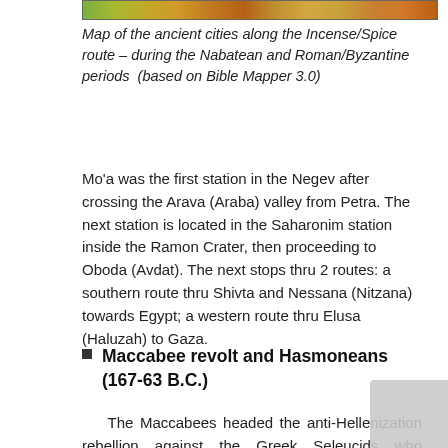[Figure (map): Partial view of a colorful map of ancient cities along the Incense/Spice route, showing terrain in greens, yellows, and oranges]
Map of the ancient cities along the Incense/Spice route – during the Nabatean and Roman/Byzantine periods  (based on Bible Mapper 3.0)
Mo'a was the first station in the Negev after crossing the Arava (Araba) valley from Petra. The next station is located in the Saharonim station inside the Ramon Crater, then proceeding to Oboda (Avdat). The next stops thru 2 routes: a southern route thru Shivta and Nessana (Nitzana) towards Egypt; a western route thru Elusa (Haluzah) to Gaza.
Maccabee revolt and Hasmoneans (167-63 B.C.)
The Maccabees headed the anti-Hellenization rebellion against the Greek Seleucids who controlled the land of Israel since 198 BC. After a series of